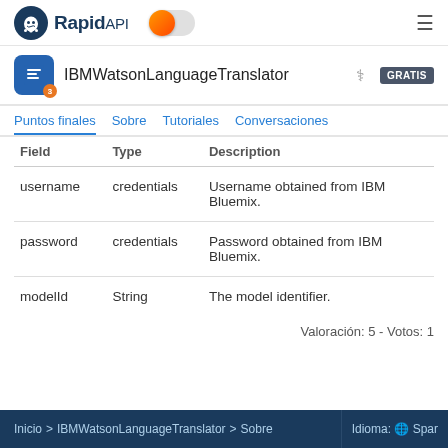RapidAPI
IBMWatsonLanguageTranslator GRATIS
Puntos finales  Sobre  Tutoriales  Conversaciones
| Field | Type | Description |
| --- | --- | --- |
| username | credentials | Username obtained from IBM Bluemix. |
| password | credentials | Password obtained from IBM Bluemix. |
| modelId | String | The model identifier. |
Valoración: 5 - Votos: 1
Inicio > IBMWatsonLanguageTranslator > Sobre  Idioma: 🌐 Spanish